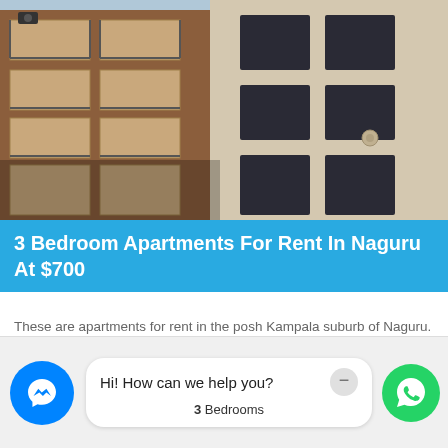[Figure (photo): Exterior photo of a multi-storey apartment building with balconies, taken from below looking up. Left side shows reddish-brown building with metal railings; right side shows beige/cream building with dark windows.]
3 Bedroom Apartments For Rent In Naguru At $700
These are apartments for rent in the posh Kampala suburb of Naguru. They are located in an area that is quiet, safe and secure with......
More Details >>>
[Figure (screenshot): Facebook Messenger chat widget showing blue messenger icon on left, white chat bubble in center with text 'Hi! How can we help you?' and a minimize button, bedrooms label '3 Bedrooms' at bottom, and WhatsApp green icon on right.]